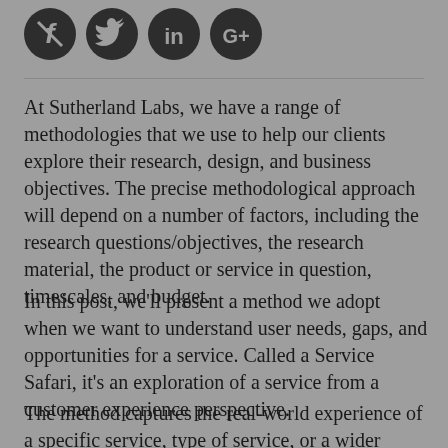[Figure (logo): Four social media icons: Facebook, Twitter, LinkedIn, Google+]
At Sutherland Labs, we have a range of methodologies that we use to help our clients explore their research, design, and business objectives. The precise methodological approach will depend on a number of factors, including the research questions/objectives, the research material, the product or service in question, timescales, and budget.
In this post, we'll present a method we adopt when we want to understand user needs, gaps, and opportunities for a service. Called a Service Safari, it's an exploration of a service from a customer experience perspective.
The method captures the real-world experience of a specific service, type of service, or a wider range of services, be that for